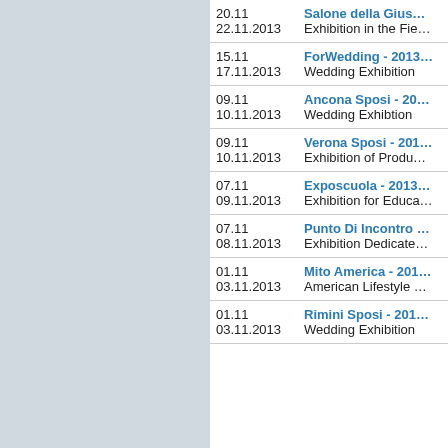| Date | Event |
| --- | --- |
| 20.11 – 22.11.2013 | Salone della Gius… / Exhibition in the Fie… |
| 15.11 – 17.11.2013 | ForWedding - 2013 / Wedding Exhibition |
| 09.11 – 10.11.2013 | Ancona Sposi - 20… / Wedding Exhibtion |
| 09.11 – 10.11.2013 | Verona Sposi - 201… / Exhibition of Produ… |
| 07.11 – 09.11.2013 | Exposcuola - 2013 / Exhibition for Educa… |
| 07.11 – 08.11.2013 | Punto Di Incontro … / Exhibition Dedicate… |
| 01.11 – 03.11.2013 | Mito America - 201… / American Lifestyle … |
| 01.11 – 03.11.2013 | Rimini Sposi - 201… / Wedding Exhibition |